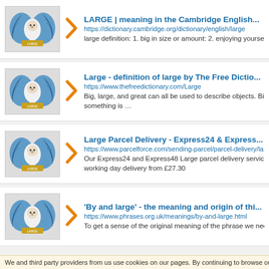LARGE | meaning in the Cambridge English ... https://dictionary.cambridge.org/dictionary/english/large large definition: 1. big in size or amount: 2. enjoying yourself ...
Large - definition of large by The Free Dictio... https://www.thefreedictionary.com/Large Big, large, and great can all be used to describe objects. Big something is ...
Large Parcel Delivery - Express24 & Express... https://www.parcelforce.com/sending-parcel/parcel-delivery/la... Our Express24 and Express48 Large parcel delivery services working day delivery from £27.30
'By and large' - the meaning and origin of thi... https://www.phrases.org.uk/meanings/by-and-large.html To get a sense of the original meaning of the phrase we need...
We and third party providers from us use cookies on our pages. By continuing to browse our